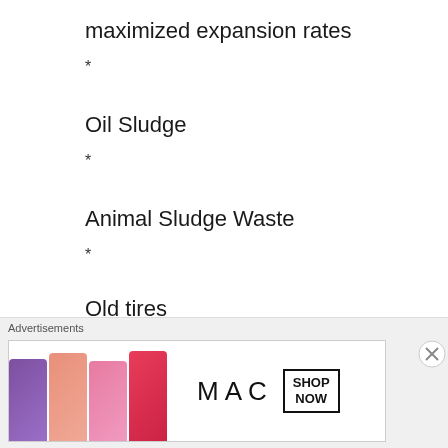maximized expansion rates
*
Oil Sludge
*
Animal Sludge Waste
*
Old tires
*
Industrial Waste
*
Advertisements
[Figure (photo): MAC cosmetics advertisement banner with lipsticks in purple, peach, pink, and red colors, MAC logo, and SHOP NOW button]